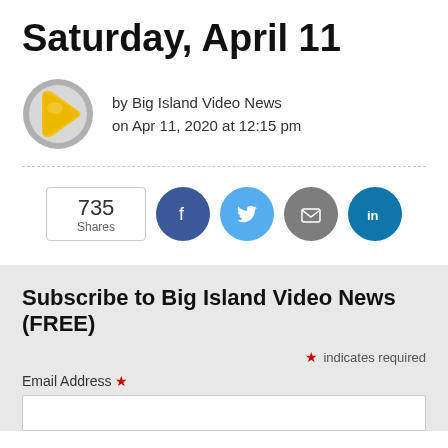Saturday, April 11
by Big Island Video News
on Apr 11, 2020 at 12:15 pm
[Figure (logo): Big Island Video News logo: circular gray border with yellow play button arrow]
[Figure (infographic): Social share bar showing 735 Shares, with Facebook, Twitter, Email, and LinkedIn share buttons]
Subscribe to Big Island Video News (FREE)
* indicates required
Email Address *